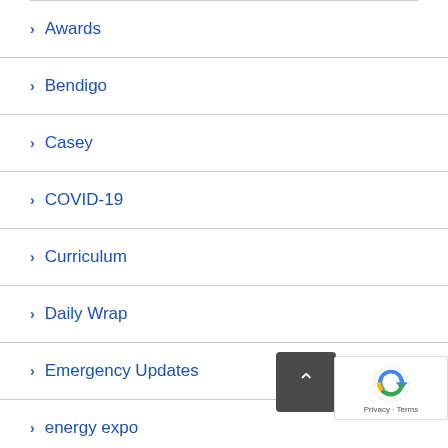Awards
Bendigo
Casey
COVID-19
Curriculum
Daily Wrap
Emergency Updates
energy expo
Entertainment
Entries
Event Information